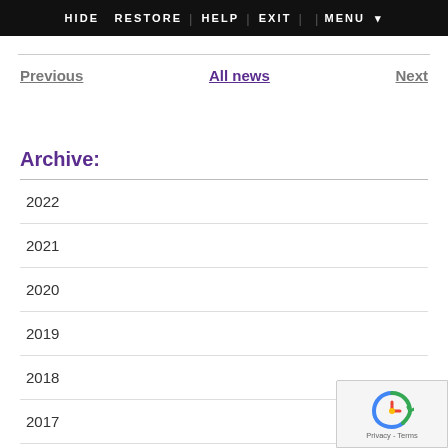HIDE  RESTORE | HELP | EXIT | | MENU ▼
Previous    All news    Next
Archive:
2022
2021
2020
2019
2018
2017
[Figure (logo): reCAPTCHA badge with circular arrow icon and 'Privacy - Terms' text]